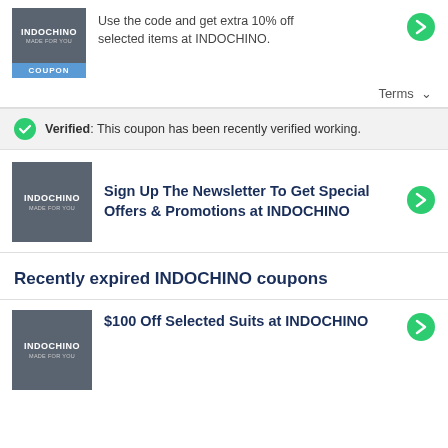[Figure (logo): INDOCHINO logo square dark gray box with coupon badge below]
Use the code and get extra 10% off selected items at INDOCHINO.
Terms ∨
Verified: This coupon has been recently verified working.
[Figure (logo): INDOCHINO logo square dark gray]
Sign Up The Newsletter To Get Special Offers & Promotions at INDOCHINO
Recently expired INDOCHINO coupons
[Figure (logo): INDOCHINO logo square dark gray]
$100 Off Selected Suits at INDOCHINO